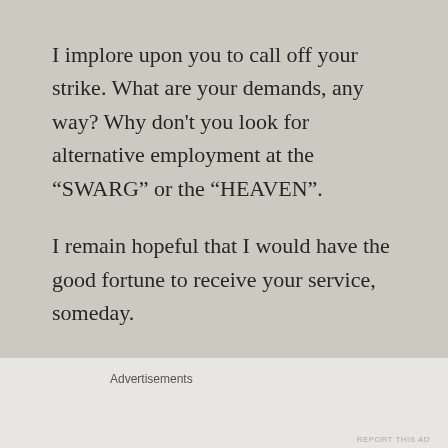I implore upon you to call off your strike. What are your demands, any way? Why don't you look for alternative employment at the “SWARG” or the “HEAVEN”.
I remain hopeful that I would have the good fortune to receive your service, someday.
Tapasvini
Advertisements